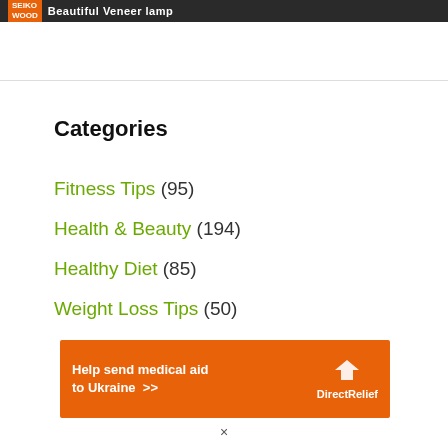[Figure (screenshot): Dark top banner with orange logo reading 'SEIKO WOOD' and white bold text 'Beautiful Veneer lamp']
Categories
Fitness Tips (95)
Health & Beauty (194)
Healthy Diet (85)
Weight Loss Tips (50)
[Figure (other): Orange advertisement banner: 'Help send medical aid to Ukraine >>' with Direct Relief logo]
×